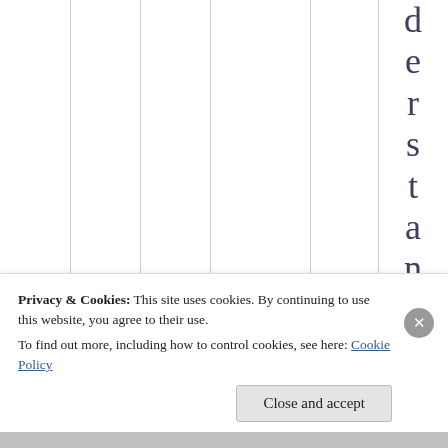d e r s t a n d i n g
Privacy & Cookies: This site uses cookies. By continuing to use this website, you agree to their use.
To find out more, including how to control cookies, see here: Cookie Policy
Close and accept